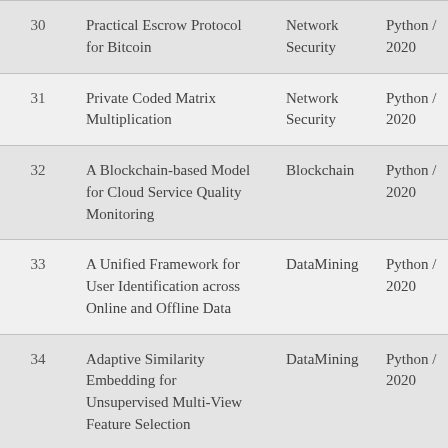| # | Title | Category | Language / Year |
| --- | --- | --- | --- |
| 30 | Practical Escrow Protocol for Bitcoin | Network Security | Python / 2020 |
| 31 | Private Coded Matrix Multiplication | Network Security | Python / 2020 |
| 32 | A Blockchain-based Model for Cloud Service Quality Monitoring | Blockchain | Python / 2020 |
| 33 | A Unified Framework for User Identification across Online and Offline Data | DataMining | Python / 2020 |
| 34 | Adaptive Similarity Embedding for Unsupervised Multi-View Feature Selection | DataMining | Python / 2020 |
| 35 | BRIGHT - Drift-Aware Demand Predictions for Taxi | DataMining | Python / 2020 |